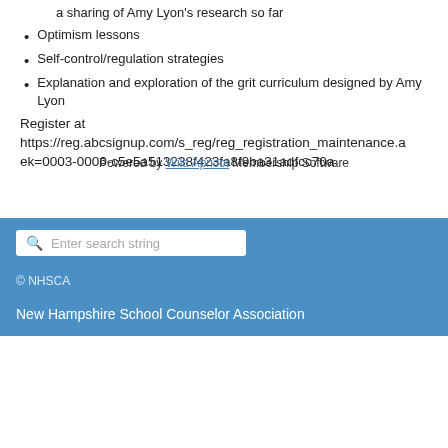a sharing of Amy Lyon's research so far
Optimism lessons
Self-control/regulation strategies
Explanation and exploration of the grit curriculum designed by Amy Lyon
Register at https://reg.abcsignup.com/s_reg/reg_registration_maintenance.a ek=0003-0006-c5e5a513238f423fa8f9ba31adfcc70a
[Figure (screenshot): Blue footer section with a search bar showing 'Enter search string', copyright text '© NHSCA', and organization name 'New Hampshire School Counselor Association']
Powered by Wild Apricot Membership Software